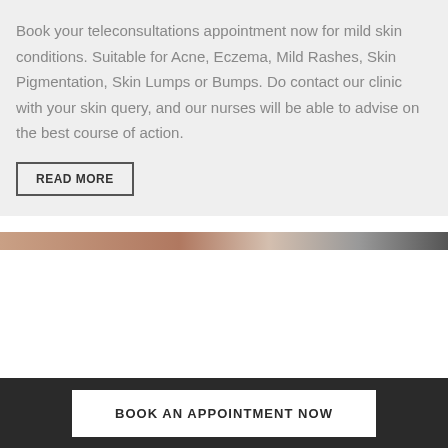Book your teleconsultations appointment now for mild skin conditions. Suitable for Acne, Eczema, Mild Rashes, Skin Pigmentation, Skin Lumps or Bumps. Do contact our clinic with your skin query, and our nurses will be able to advise on the best course of action.
READ MORE
[Figure (photo): Horizontal decorative image strip showing skin tones]
BOOK AN APPOINTMENT NOW